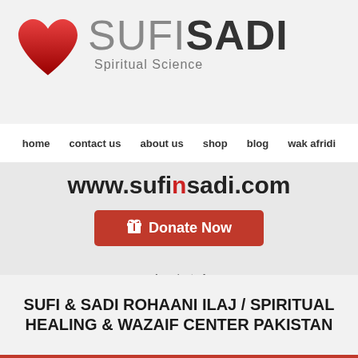[Figure (logo): SufiSadi logo with red heart on left and SUFISADI text with 'Spiritual Science' subtitle on right]
home
contact us
about us
shop
blog
wak afridi
www.sufinsadi.com
Donate Now
A project of
[Figure (logo): WAK Afridi logo in black and orange]
SUFI & SADI ROHAANI ILAJ / SPIRITUAL HEALING & WAZAIF CENTER PAKISTAN